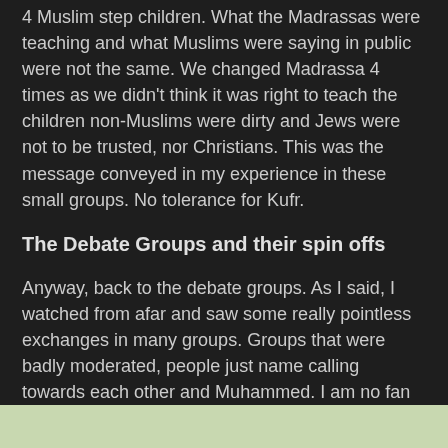4 Muslim step children. What the Madrassas were teaching and what Muslims were saying in public were not the same. We changed Madrassa 4 times as we didn't think it was right to teach the children non-Muslims were dirty and Jews were not to be trusted, nor Christians. This was the message conveyed in my experience in these small groups. No tolerance for Kufr.
The Debate Groups and their spin offs
Anyway, back to the debate groups. As I said, I watched from afar and saw some really pointless exchanges in many groups. Groups that were badly moderated, people just name calling towards each other and Muhammed. I am no fan of Mo but trying to rile someone by offending them is not winning a debate or discussion. Maybe that works for some people but it wasn't for me.